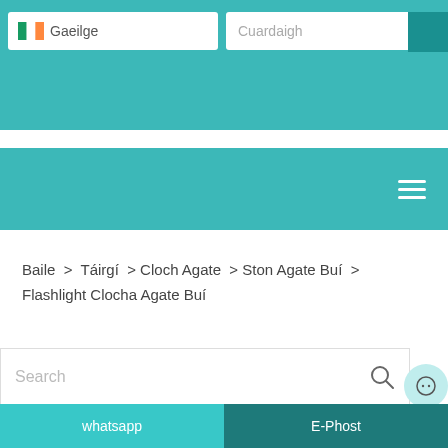Gaeilge | Cuardaigh
[Figure (screenshot): Navigation bar with hamburger menu icon on teal background]
Baile > Táirgí > Cloch Agate > Ston Agate Buí > Flashlight Clocha Agate Buí
Search
whatsapp | E-Phost